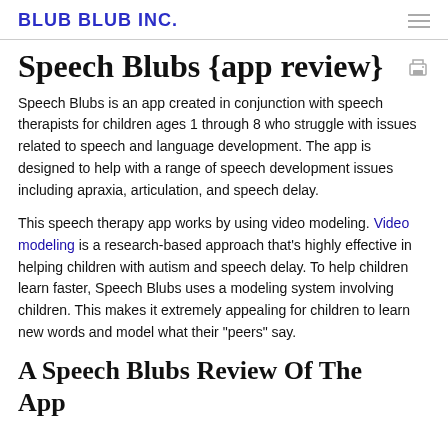BLUB BLUB INC.
Speech Blubs {app review}
Speech Blubs is an app created in conjunction with speech therapists for children ages 1 through 8 who struggle with issues related to speech and language development. The app is designed to help with a range of speech development issues including apraxia, articulation, and speech delay.
This speech therapy app works by using video modeling. Video modeling is a research-based approach that’s highly effective in helping children with autism and speech delay. To help children learn faster, Speech Blubs uses a modeling system involving children. This makes it extremely appealing for children to learn new words and model what their “peers” say.
A Speech Blubs Review Of The App